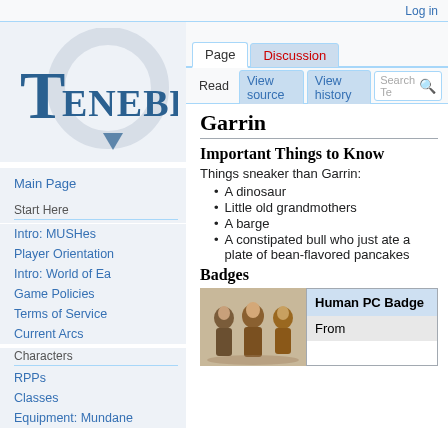Log in
[Figure (logo): Tenebrae wiki logo with stylized T and circular emblem]
Main Page
Start Here
Intro: MUSHes
Player Orientation
Intro: World of Ea
Game Policies
Terms of Service
Current Arcs
Characters
RPPs
Classes
Equipment: Mundane
Garrin
Important Things to Know
Things sneaker than Garrin:
A dinosaur
Little old grandmothers
A barge
A constipated bull who just ate a plate of bean-flavored pancakes
Badges
[Figure (illustration): Three armored human character illustrations]
| Human PC Badge |
| --- |
| From |